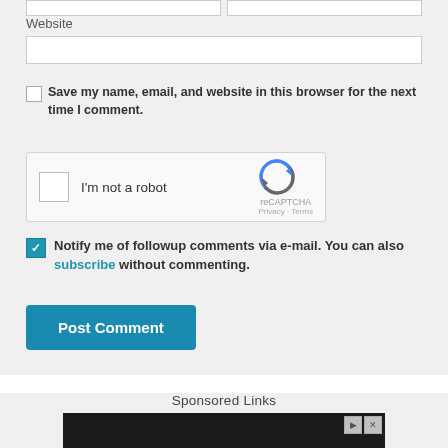Website
Save my name, email, and website in this browser for the next time I comment.
[Figure (screenshot): reCAPTCHA widget with checkbox labeled 'I'm not a robot' and reCAPTCHA logo with Privacy and Terms links]
Notify me of followup comments via e-mail. You can also subscribe without commenting.
Post Comment
Sponsored Links
[Figure (photo): Dark advertisement banner with AdChoices controls]